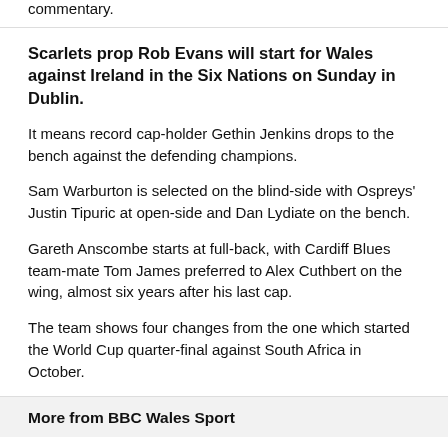commentary.
Scarlets prop Rob Evans will start for Wales against Ireland in the Six Nations on Sunday in Dublin.
It means record cap-holder Gethin Jenkins drops to the bench against the defending champions.
Sam Warburton is selected on the blind-side with Ospreys' Justin Tipuric at open-side and Dan Lydiate on the bench.
Gareth Anscombe starts at full-back, with Cardiff Blues team-mate Tom James preferred to Alex Cuthbert on the wing, almost six years after his last cap.
The team shows four changes from the one which started the World Cup quarter-final against South Africa in October.
More from BBC Wales Sport